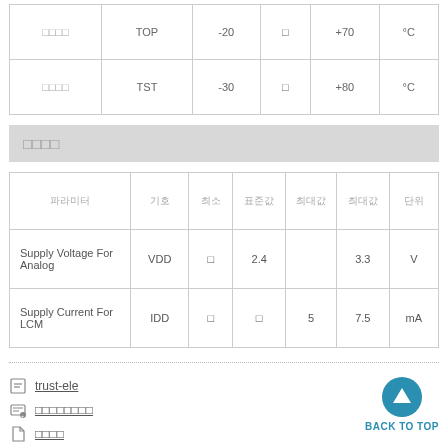|  |  |  |  |  |  |
| --- | --- | --- | --- | --- | --- |
| □□□□ | TOP | -20 | □ | +70 | °C |
| □□□□ | TST | -30 | □ | +80 | °C |
□□□□
| 파라미터 | 기호 | 최소 | 표준값 | 최대값 | 최대값 | 단위 |
| --- | --- | --- | --- | --- | --- | --- |
| Supply Voltage For Analog | VDD | □ | 2.4 |  | 3.3 | V |
| Supply Current For LCM | IDD | □ | □ | 5 | 7.5 | mA |
trust-ele | □□□□□□□□ | □□□□ | BACK TO TOP